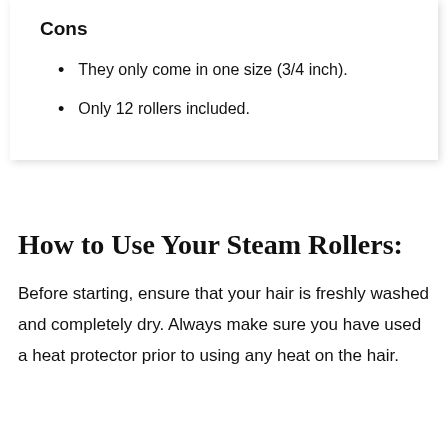Cons
They only come in one size (3/4 inch).
Only 12 rollers included.
How to Use Your Steam Rollers:
Before starting, ensure that your hair is freshly washed and completely dry. Always make sure you have used a heat protector prior to using any heat on the hair.